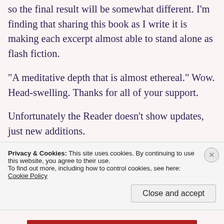so the final result will be somewhat different. I'm finding that sharing this book as I write it is making each excerpt almost able to stand alone as flash fiction.
“A meditative depth that is almost ethereal.” Wow. Head-swelling. Thanks for all of your support.
Unfortunately the Reader doesn’t show updates, just new additions.
You can access all of your Google accounts the
Privacy & Cookies: This site uses cookies. By continuing to use this website, you agree to their use. To find out more, including how to control cookies, see here: Cookie Policy
Close and accept